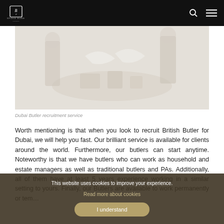Bespoke Bureau London — navigation bar with logo, search icon, and menu icon
[Figure (photo): A faded/washed-out photograph of a formal table setting with people in formal attire, suggesting a butler service scene.]
Dubai Butler recruitment service
Worth mentioning is that when you look to recruit British Butler for Dubai, we will help you fast. Our brilliant service is available for clients around the world. Furthermore, our butlers can start anytime. Noteworthy is that we have butlers who can work as household and estate managers as well as traditional butlers and PAs. Additionally, all of them have at least 5 years experience working in a similar setting to yours. Finally, our Butlers are available to work permanently or tem…
This website uses cookies to improve your experience.
Read more about cookies
I understand